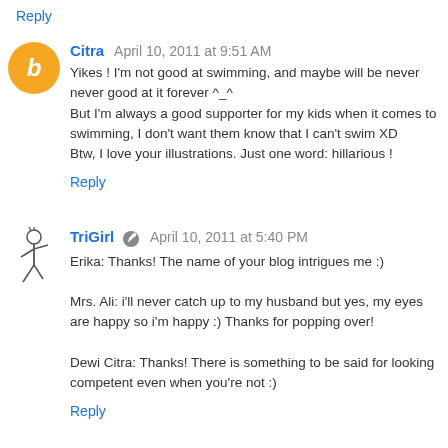Reply
Citra  April 10, 2011 at 9:51 AM
Yikes ! I'm not good at swimming, and maybe will be never never good at it forever ^_^
But I'm always a good supporter for my kids when it comes to swimming, I don't want them know that I can't swim XD
Btw, I love your illustrations. Just one word: hillarious !
Reply
TriGirl  April 10, 2011 at 5:40 PM
Erika: Thanks! The name of your blog intrigues me :)

Mrs. Ali: i'll never catch up to my husband but yes, my eyes are happy so i'm happy :) Thanks for popping over!

Dewi Citra: Thanks! There is something to be said for looking competent even when you're not :)
Reply